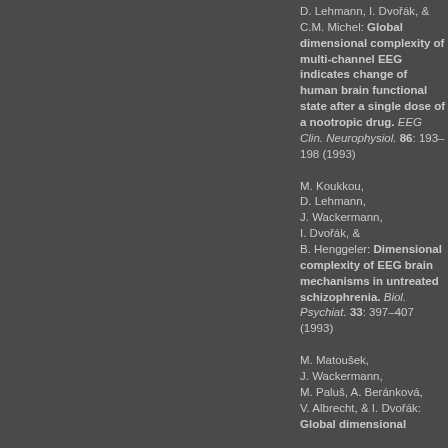D. Lehmann, I. Dvořák, & C.M. Michel: Global dimensional complexity of multi-channel EEG indicates change of human brain functional state after a single dose of a nootropic drug. EEG Clin. Neurophysiol. 86: 193–198 (1993)
M. Koukkou, D. Lehmann, J. Wackermann, I. Dvořák, & B. Henggeler: Dimensional complexity of EEG brain mechanisms in untreated schizophrenia. Biol. Psychiat. 33: 397–407 (1993)
M. Matoušek, J. Wackermann, M. Paluš, A. Beránková, V. Albrecht, & I. Dvořák: Global dimensional complexity of the EEG...